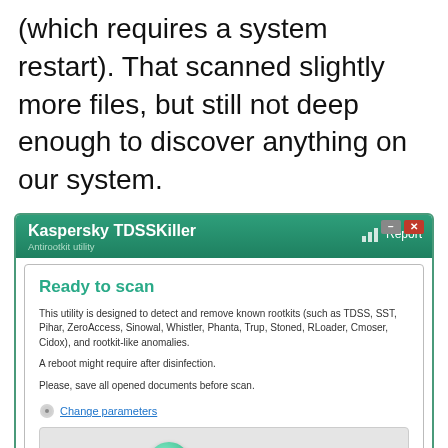(which requires a system restart). That scanned slightly more files, but still not deep enough to discover anything on our system.
[Figure (screenshot): Kaspersky TDSSKiller antirootkit utility window showing 'Ready to scan' screen with description text about detecting rootkits, a 'Change parameters' link, and a 'Start scan' button]